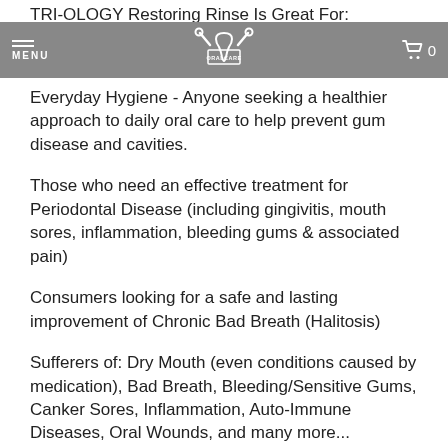TRI-OLOGY Restoring Rinse Is Great For: — MENU — ORALCARE logo — cart 0
Everyday Hygiene - Anyone seeking a healthier approach to daily oral care to help prevent gum disease and cavities.
Those who need an effective treatment for Periodontal Disease (including gingivitis, mouth sores, inflammation, bleeding gums & associated pain)
Consumers looking for a safe and lasting improvement of Chronic Bad Breath (Halitosis)
Sufferers of: Dry Mouth (even conditions caused by medication), Bad Breath, Bleeding/Sensitive Gums, Canker Sores, Inflammation, Auto-Immune Diseases, Oral Wounds, and many more...
QTY